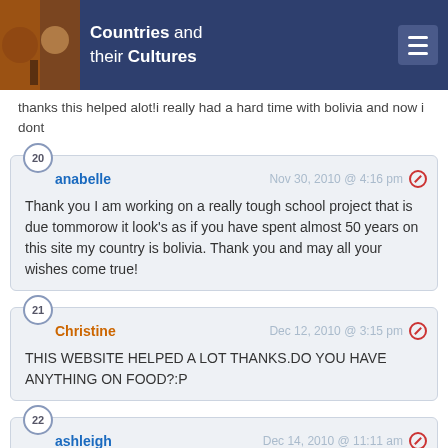Countries and their Cultures
thanks this helped alot!i really had a hard time with bolivia and now i dont
anabelle — Nov 30, 2010 @ 4:16 pm — Thank you I am working on a really tough school project that is due tommorow it look's as if you have spent almost 50 years on this site my country is bolivia. Thank you and may all your wishes come true!
Christine — Dec 12, 2010 @ 3:15 pm — THIS WEBSITE HELPED A LOT THANKS.DO YOU HAVE ANYTHING ON FOOD?:P
ashleigh — Dec 14, 2010 @ 11:11 am — this really helped me with my history project and i now noo alot of stuff about this place that i didnt know before